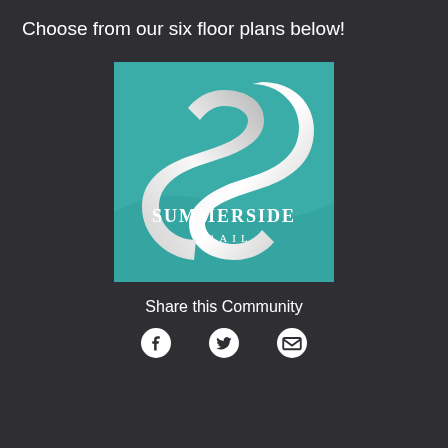Choose from our six floor plans below!
[Figure (logo): SummerSide Trail logo on teal background with white stylized S ribbon shape and text 'SummerSide Trail']
Share this Community
[Figure (infographic): Social sharing icons: Facebook, Twitter, Email]